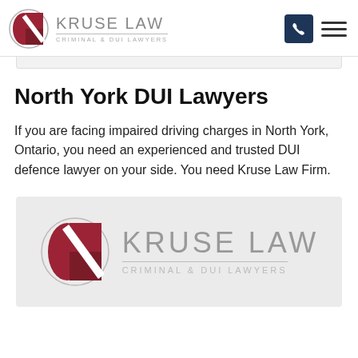[Figure (logo): Kruse Law Criminal & DUI Lawyers logo in header — red K icon with gray text]
North York DUI Lawyers
If you are facing impaired driving charges in North York, Ontario, you need an experienced and trusted DUI defence lawyer on your side. You need Kruse Law Firm.
[Figure (logo): Large Kruse Law Criminal & DUI Lawyers logo on gray background]